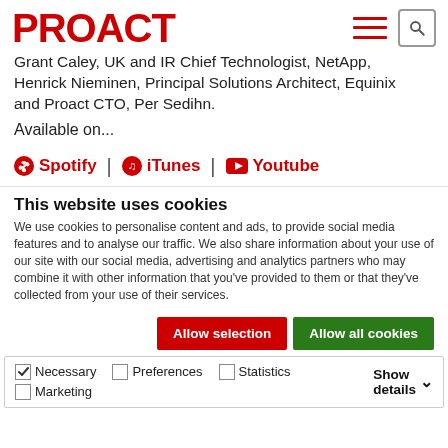PROACT
Grant Caley, UK and IR Chief Technologist, NetApp, Henrick Nieminen, Principal Solutions Architect, Equinix and Proact CTO, Per Sedihn.
Available on...
Spotify | iTunes | Youtube
This website uses cookies
We use cookies to personalise content and ads, to provide social media features and to analyse our traffic. We also share information about your use of our site with our social media, advertising and analytics partners who may combine it with other information that you've provided to them or that they've collected from your use of their services.
Allow selection | Allow all cookies
Necessary | Preferences | Statistics | Marketing | Show details